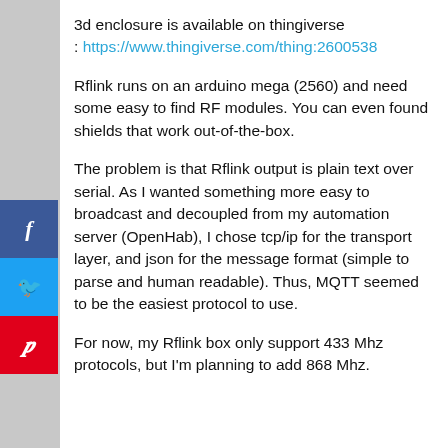3d enclosure is available on thingiverse
: https://www.thingiverse.com/thing:2600538
Rflink runs on an arduino mega (2560) and need some easy to find RF modules. You can even found shields that work out-of-the-box.
The problem is that Rflink output is plain text over serial. As I wanted something more easy to broadcast and decoupled from my automation server (OpenHab), I chose tcp/ip for the transport layer, and json for the message format (simple to parse and human readable). Thus, MQTT seemed to be the easiest protocol to use.
For now, my Rflink box only support 433 Mhz protocols, but I'm planning to add 868 Mhz.